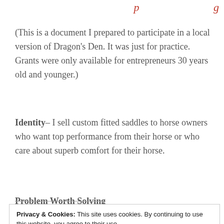(partial page title in red italic)
(This is a document I prepared to participate in a local version of Dragon's Den.  It was just for practice.  Grants were only available for entrepreneurs 30 years old and younger.)
Identity– I sell custom fitted saddles to horse owners who want top performance from their horse or who care about superb comfort for their horse.
Problem Worth Solving
Privacy & Cookies: This site uses cookies. By continuing to use this website, you agree to their use.
To find out more, including how to control cookies, see here: Cookie Policy
scapula back under the saddle panel as they